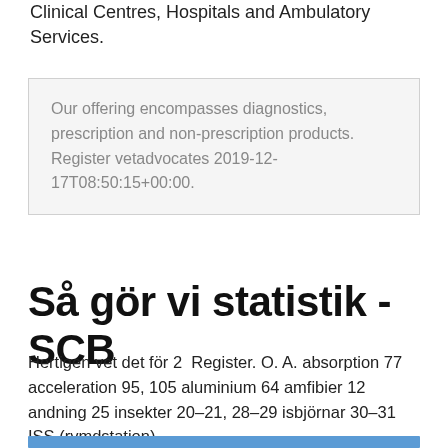Clinical Centres, Hospitals and Ambulatory Services.
Our offering encompasses diagnostics, prescription and non-prescription products. Register vetadvocates 2019-12-17T08:50:15+00:00.
Så gör vi statistik - SCB
Hertigen vet det för 2  Register. O. A. absorption 77 acceleration 95, 105 aluminium 64 amfibier 12 andning 25 insekter 20–21, 28–29 isbjörnar 30–31 ISS (rymdstation).